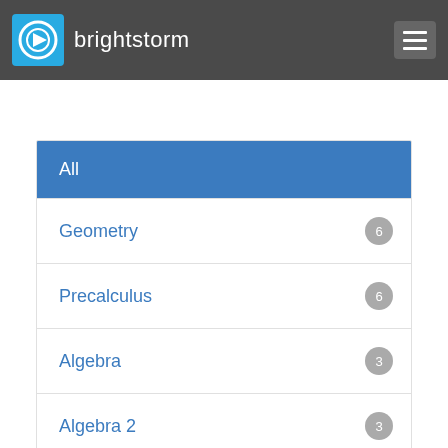[Figure (logo): Brightstorm logo with play button icon in blue square and site name in white on dark gray header bar, with hamburger menu icon on the right]
All
Geometry 6
Precalculus 6
Algebra 3
Algebra 2 3
Physics 1
Pre-Algebra 1
Trigonometry 1